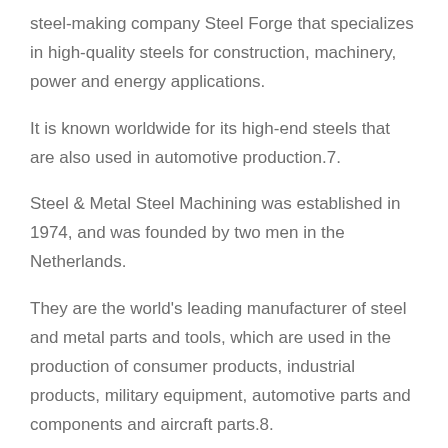steel-making company Steel Forge that specializes in high-quality steels for construction, machinery, power and energy applications.
It is known worldwide for its high-end steels that are also used in automotive production.7.
Steel & Metal Steel Machining was established in 1974, and was founded by two men in the Netherlands.
They are the world's leading manufacturer of steel and metal parts and tools, which are used in the production of consumer products, industrial products, military equipment, automotive parts and components and aircraft parts.8.
Steel Corporation Steel Corporation is a subsidiary